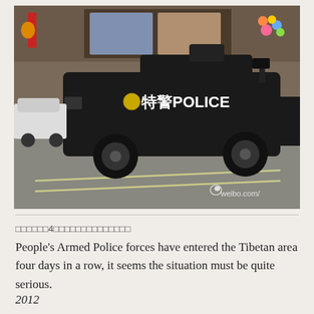[Figure (photo): A black armored police vehicle labeled '特警POLICE' driving on a street in what appears to be a Chinese city. Buildings with advertisements visible in background. A Weibo.com watermark is in the lower right of the image.]
□□□□□□4□□□□□□□□□□□□□□
People's Armed Police forces have entered the Tibetan area four days in a row, it seems the situation must be quite serious.
2012